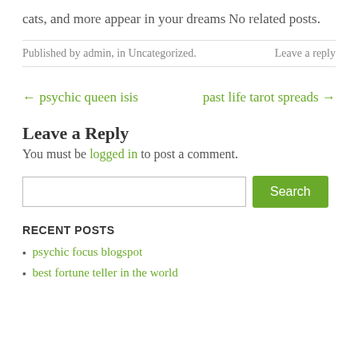cats, and more appear in your dreams
No related posts.
Published by admin, in Uncategorized.   Leave a reply
← psychic queen isis
past life tarot spreads →
Leave a Reply
You must be logged in to post a comment.
RECENT POSTS
psychic focus blogspot
best fortune teller in the world